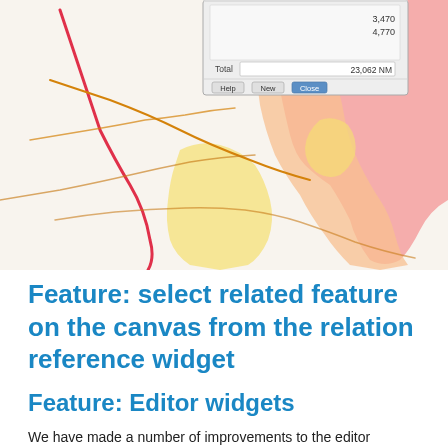[Figure (screenshot): Map screenshot showing geographic features with colored regions (pink, orange, yellow areas) and route lines (red, orange lines). A dialog box overlay shows values 3,470 and 4,770, a Total field showing 23,062 NM, and buttons: Help, New, Close.]
Feature: select related feature on the canvas from the relation reference widget
Feature: Editor widgets
We have made a number of improvements to the editor widgets: